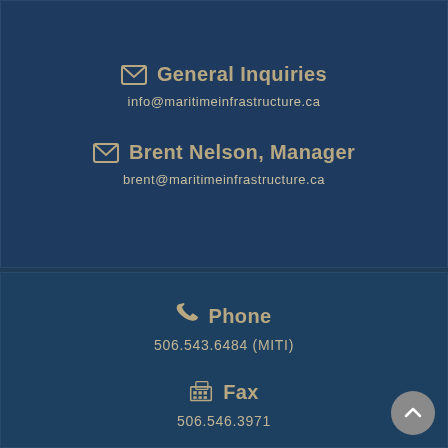General Inquiries
info@maritimeinfrastructure.ca
Brent Nelson, Manager
brent@maritimeinfrastructure.ca
Phone
506.543.6484 (MITI)
Fax
506.546.3971